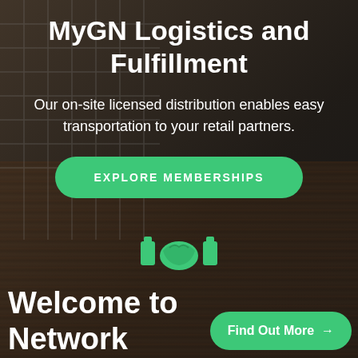[Figure (photo): Dark background showing an office/room interior with wooden floor, a green/yellow chair, a desk, and a plant wall. Semi-transparent dark overlay.]
MyGN Logistics and Fulfillment
Our on-site licensed distribution enables easy transportation to your retail partners.
EXPLORE MEMBERSHIPS
[Figure (illustration): Green handshake icon with document/clipboard symbols on either side]
Welcome to
Network
Find Out More →